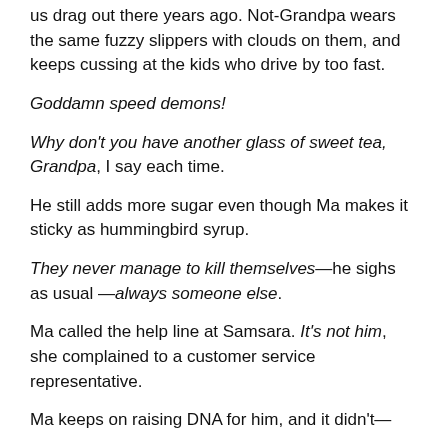us drag out there years ago. Not-Grandpa wears the same fuzzy slippers with clouds on them, and keeps cussing at the kids who drive by too fast.
Goddamn speed demons!
Why don't you have another glass of sweet tea, Grandpa, I say each time.
He still adds more sugar even though Ma makes it sticky as hummingbird syrup.
They never manage to kill themselves—he sighs as usual —always someone else.
Ma called the help line at Samsara. It's not him, she complained to a customer service representative.
Ma keeps on raising DNA for him, and it didn't—